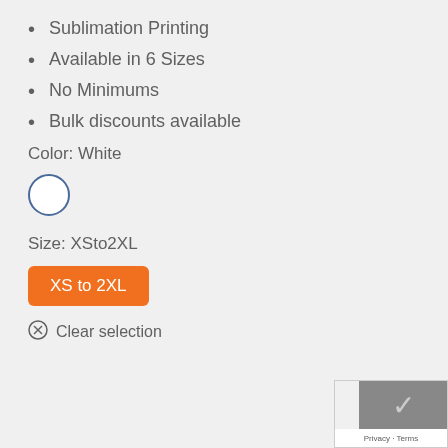Sublimation Printing
Available in 6 Sizes
No Minimums
Bulk discounts available
Color: White
[Figure (other): White color swatch circle with dark blue border]
Size: XSto2XL
[Figure (other): Orange button labeled XS to 2XL]
Clear selection